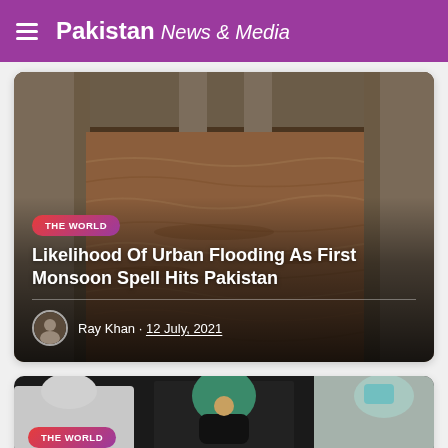Pakistan News & Media
[Figure (photo): Flooded river under a concrete bridge with brown rushing water, viewed from under the bridge]
Likelihood Of Urban Flooding As First Monsoon Spell Hits Pakistan
Ray Khan · 12 July, 2021
[Figure (photo): Medical workers in PPE suits and a person wearing a mask with turban, health/COVID related scene]